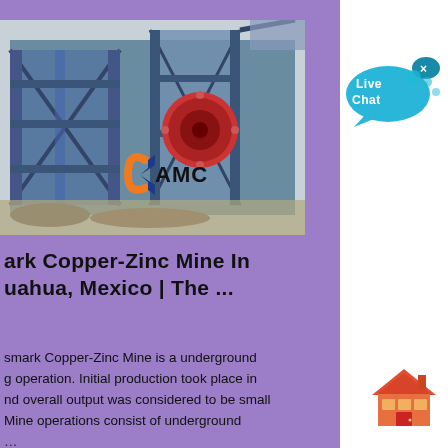[Figure (photo): Industrial mining equipment — a large blue steel crushing/processing machine with a prominent red flywheel, set outdoors at a mine site. An orange and blue logo reading 'AMC' (with a C-shaped arc) is overlaid near the center-bottom of the image.]
...ark Copper-Zinc Mine In ...uahua, Mexico | The ...
...smark Copper-Zinc Mine is a underground ...g operation. Initial production took place in ...nd overall output was considered to be small ...Mine operations consist of underground ...
[Figure (other): Live Chat speech bubble widget — a teal/blue speech bubble with 'Live Chat' text and a small blue oval with an X button in the top-right corner.]
[Figure (illustration): A small house/home icon in red and orange tones, resembling a simple building with a peaked roof and a red door.]